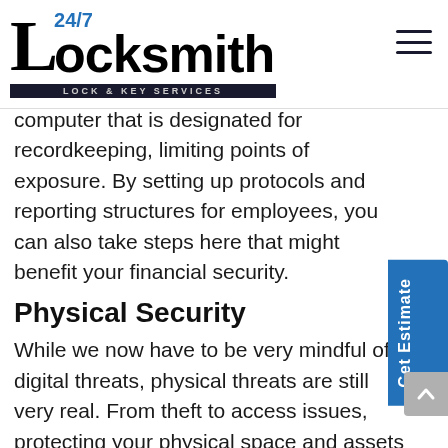24/7 Locksmith Lock & Key Services
computer that is designated for recordkeeping, limiting points of exposure. By setting up protocols and reporting structures for employees, you can also take steps here that might benefit your financial security.
Physical Security
While we now have to be very mindful of digital threats, physical threats are still very real. From theft to access issues, protecting your physical space and assets is essential to the success of your business. This can take many forms.
1. Safes. Having a safe can add an extra layer of security for your most valuable business assets. For example, many retail businesses will lock away excess cash, only keeping enough for